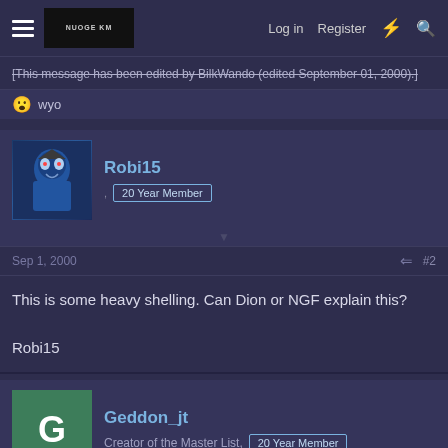Log in  Register
[This message has been edited by BilkWando (edited September 01, 2000).]
wyo
Robi15  20 Year Member
Sep 1, 2000  #2
This is some heavy shelling. Can Dion or NGF explain this?

Robi15
Geddon_jt  Creator of the Master List,  20 Year Member
Sep 1, 2000  #3